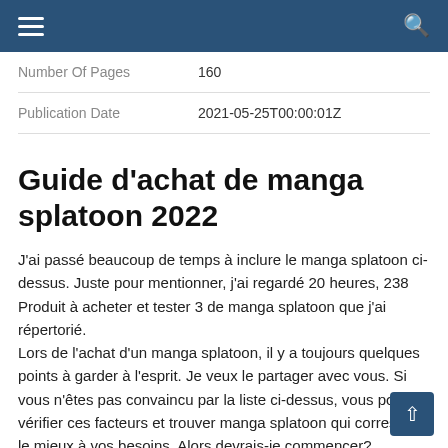Navigation bar with hamburger menu and search icon
| Field | Value |
| --- | --- |
| Number Of Pages | 160 |
| Publication Date | 2021-05-25T00:00:01Z |
Guide d'achat de manga splatoon 2022
J'ai passé beaucoup de temps à inclure le manga splatoon ci-dessus. Juste pour mentionner, j'ai regardé 20 heures, 238 Produit à acheter et tester 3 de manga splatoon que j'ai répertorié.
Lors de l'achat d'un manga splatoon, il y a toujours quelques points à garder à l'esprit. Je veux le partager avec vous. Si vous n'êtes pas convaincu par la liste ci-dessus, vous pouvez vérifier ces facteurs et trouver manga splatoon qui correspond le mieux à vos besoins. Alors devrais-je commencer?